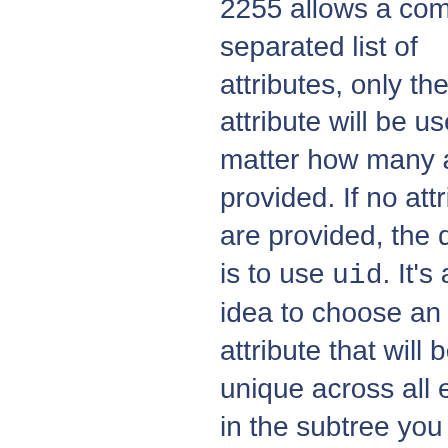2255 allows a comma-separated list of attributes, only the first attribute will be used, no matter how many are provided. If no attributes are provided, the default is to use uid. It's a good idea to choose an attribute that will be unique across all entries in the subtree you will be using. All attributes listed will be put into the environment with an AUTHENTICATE_ prefix for use by other modules.